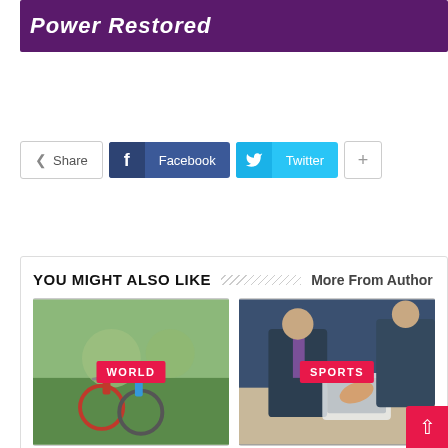[Figure (screenshot): Dark purple/violet banner with white bold italic text 'Power Restored']
Share
Facebook
Twitter
YOU MIGHT ALSO LIKE
More From Author
[Figure (photo): Two people riding bicycles on a sunny street with trees, with a red WORLD badge overlay]
[Figure (photo): Business people looking at a tablet/document, with a red SPORTS badge overlay]
U.S. Student, Barred From Israel Over Boycott, Goes to Court
Kevin Tway's winning highlights from the 2018 Safeway Open 2018